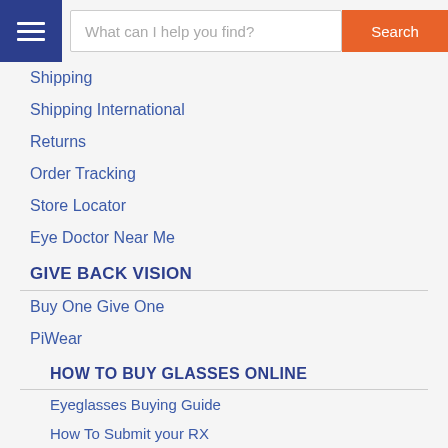[Figure (screenshot): Navigation header with hamburger menu icon, search box with placeholder 'What can I help you find?', and orange Search button]
Shipping
Shipping International
Returns
Order Tracking
Store Locator
Eye Doctor Near Me
GIVE BACK VISION
Buy One Give One
PiWear
HOW TO BUY GLASSES ONLINE
Eyeglasses Buying Guide
How To Submit your RX
Coupons and Promotions